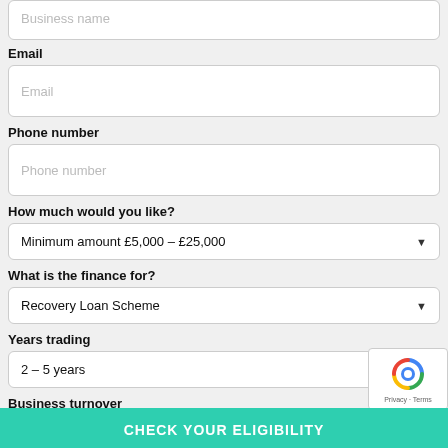Business name (placeholder, partial, top)
Email
Phone number
How much would you like?
Minimum amount £5,000 – £25,000
What is the finance for?
Recovery Loan Scheme
Years trading
2 – 5 years
Business turnover
£50,000 – £100,000
CHECK YOUR ELIGIBILITY